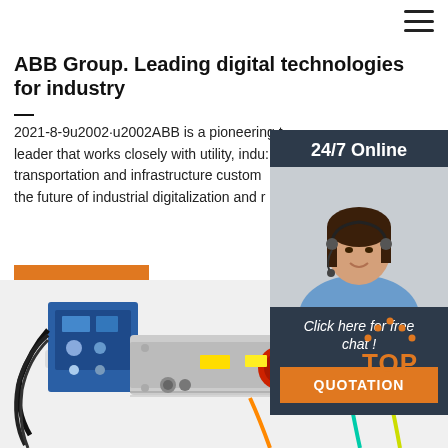☰
ABB Group. Leading digital technologies for industry —
2021-8-9u2002·u2002ABB is a pioneering technology leader that works closely with utility, industry, transportation and infrastructure customers to write the future of industrial digitalization and r
[Figure (photo): Customer service representative with headset, sidebar with 24/7 Online label, Click here for free chat text, and QUOTATION orange button]
Get Price
[Figure (photo): Electrical switchgear or industrial circuit breaker equipment with blue control box, red components, yellow labels, and wiring]